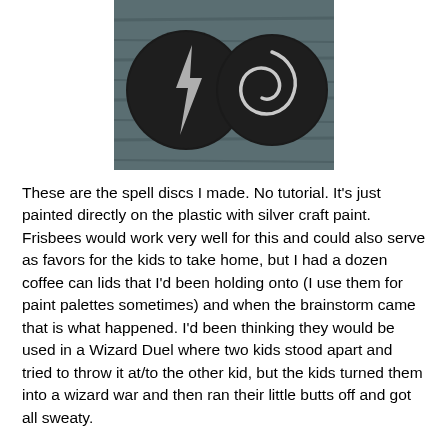[Figure (photo): Two black circular discs (coffee can lids) with silver painted symbols — a lightning bolt on the left and a swirling design on the right — resting on a weathered blue-gray wooden surface.]
These are the spell discs I made. No tutorial. It's just painted directly on the plastic with silver craft paint. Frisbees would work very well for this and could also serve as favors for the kids to take home, but I had a dozen coffee can lids that I'd been holding onto (I use them for paint palettes sometimes) and when the brainstorm came that is what happened. I'd been thinking they would be used in a Wizard Duel where two kids stood apart and tried to throw it at/to the other kid, but the kids turned them into a wizard war and then ran their little butts off and got all sweaty.
I really tried to alternate slow paced, sit down activities with running around, because it would keep the kids from getting bored or worn out. So after Wizard War, I got out the Butter Beer. No photos of that, because I was too busy serving and by the time I was finished, everyone was pretty much done.